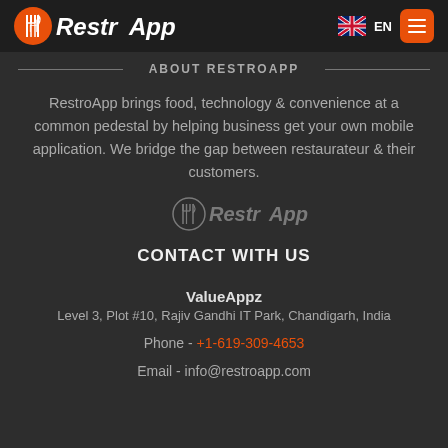RestrApp [logo] EN [menu]
ABOUT RESTROAPP
RestroApp brings food, technology & convenience at a common pedestal by helping business get your own mobile application. We bridge the gap between restaurateur & their customers.
[Figure (logo): RestroApp logo watermark in gray]
CONTACT WITH US
ValueAppz
Level 3, Plot #10, Rajiv Gandhi IT Park, Chandigarh, India
Phone - +1-619-309-4653
Email - info@restroapp.com